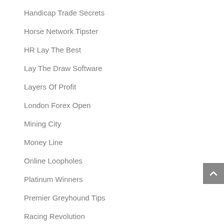Handicap Trade Secrets
Horse Network Tipster
HR Lay The Best
Lay The Draw Software
Layers Of Profit
London Forex Open
Mining City
Money Line
Online Loopholes
Platinum Winners
Premier Greyhound Tips
Racing Revolution
Roulette Sniper
SIR Golf T...